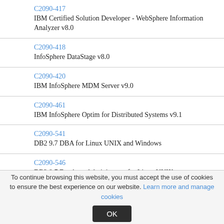C2090-417
IBM Certified Solution Developer - WebSphere Information Analyzer v8.0
C2090-418
InfoSphere DataStage v8.0
C2090-420
IBM InfoSphere MDM Server v9.0
C2090-461
IBM InfoSphere Optim for Distributed Systems v9.1
C2090-541
DB2 9.7 DBA for Linux UNIX and Windows
C2090-546
DB2 9.7 Database Administrator for Linux UNIX or Windows Upgrade (C2090-546)
C2090-548
To continue browsing this website, you must accept the use of cookies to ensure the best experience on our website. Learn more and manage cookies